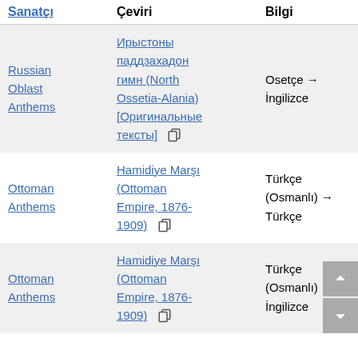| Sanatçı | Çeviri | Bilgi |
| --- | --- | --- |
| Russian Oblast Anthems | Ирыстоны паддзахадон гимн (North Ossetia-Alania) [Оригинальные тексты] [copy] | Osetçe → İngilizce |
| Ottoman Anthems | Hamidiye Marşı (Ottoman Empire, 1876-1909) [copy] | Türkçe (Osmanlı) → Türkçe |
| Ottoman Anthems | Hamidiye Marşı (Ottoman Empire, 1876-1909) [copy] | Türkçe (Osmanlı) → İngilizce |